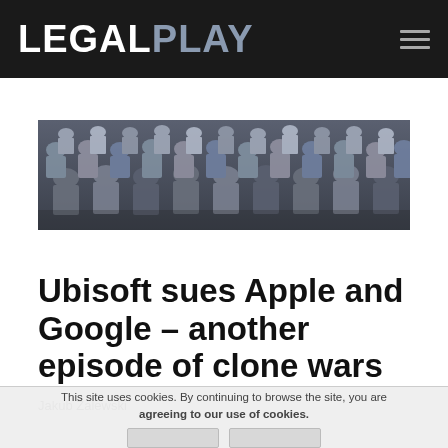LEGALPLAY
[Figure (photo): Overhead view of many identical men in suits, seen from behind, arranged in rows — illustrating cloning/uniformity theme.]
Ubisoft sues Apple and Google – another episode of clone wars
Jakub Zalewski
This site uses cookies. By continuing to browse the site, you are agreeing to our use of cookies.